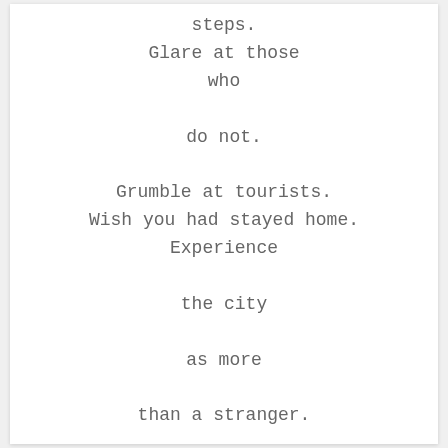steps.
Glare at those
who
do not.
Grumble at tourists.
Wish you had stayed home.
Experience
the city
as more
than a stranger.
Photo by Kamil Kalkan on Unsplash